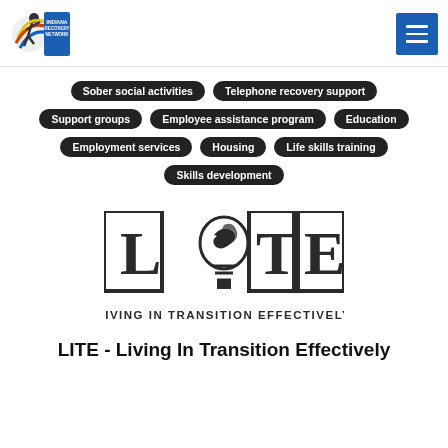Indiana Recovery Network logo and navigation menu
Sober social activities
Telephone recovery support
Support groups
Employee assistance program
Education
Employment services
Housing
Life skills training
Skills development
[Figure (logo): LITE - Living In Transition Effectively logo with large block letters L, lightbulb icon as O, T, E and text 'LIVING IN TRANSITION EFFECTIVELY' below]
LITE - Living In Transition Effectively